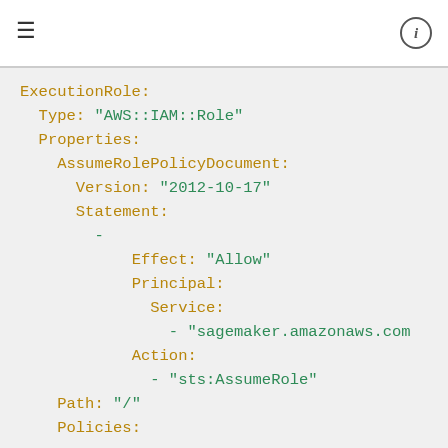≡  ⓘ
ExecutionRole:
  Type: "AWS::IAM::Role"
  Properties:
    AssumeRolePolicyDocument:
      Version: "2012-10-17"
      Statement:
        -
            Effect: "Allow"
            Principal:
              Service:
                - "sagemaker.amazonaws.com"
            Action:
              - "sts:AssumeRole"
    Path: "/"
    Policies:
      -
          PolicyName: "root"